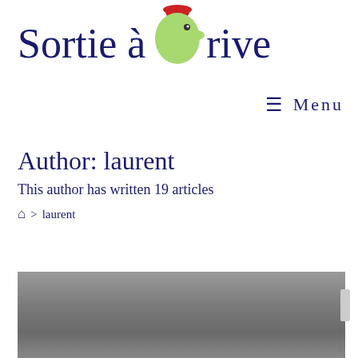[Figure (logo): Sortie à Brive logo with stylized green character wearing a red hat, large dark blue serif text]
≡  Menu
Author: laurent
This author has written 19 articles
⌂ > laurent
[Figure (photo): Partially visible outdoor photo with grey/overcast sky and landscape, cropped at bottom of page]